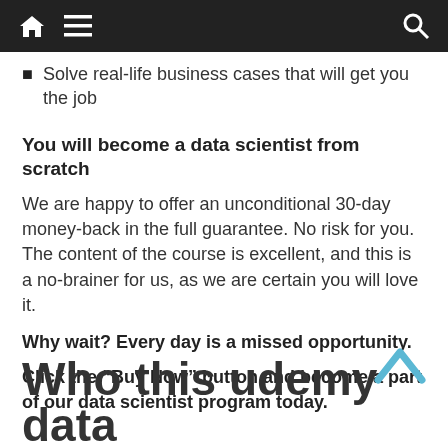navigation bar with home, menu, and search icons
Solve real-life business cases that will get you the job
You will become a data scientist from scratch
We are happy to offer an unconditional 30-day money-back in the full guarantee. No risk for you. The content of the course is excellent, and this is a no-brainer for us, as we are certain you will love it.
Why wait? Every day is a missed opportunity.
Click the “Buy Now” button and become a part of our data scientist program today.
Who this udemy data